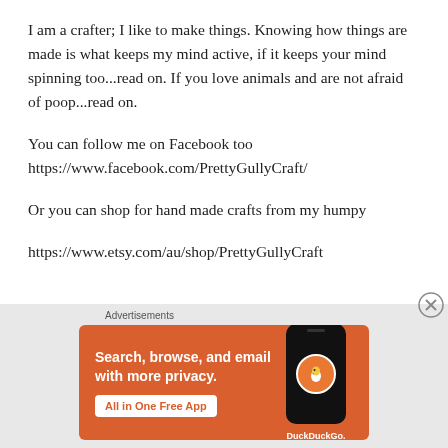I am a crafter; I like to make things. Knowing how things are made is what keeps my mind active, if it keeps your mind spinning too...read on. If you love animals and are not afraid of poop...read on.
You can follow me on Facebook too https://www.facebook.com/PrettyGullyCraft/
Or you can shop for hand made crafts from my humpy
https://www.etsy.com/au/shop/PrettyGullyCraft
[Figure (other): DuckDuckGo advertisement banner: orange background with text 'Search, browse, and email with more privacy. All in One Free App' and a phone graphic with DuckDuckGo logo]